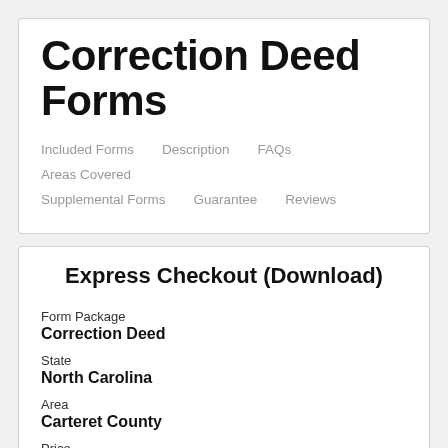Correction Deed Forms
Included Forms  Description  FAQs  Areas Covered  Supplemental Forms  Guarantee  Reviews
Express Checkout (Download)
Form Package
Correction Deed
State
North Carolina
Area
Carteret County
Price
$27.97